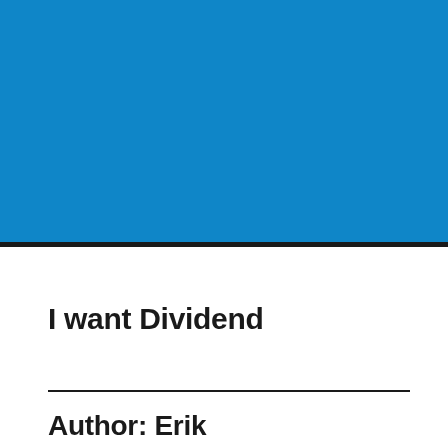[Figure (illustration): Solid blue rectangle filling the upper half of the page]
I want Dividend
Author: Erik